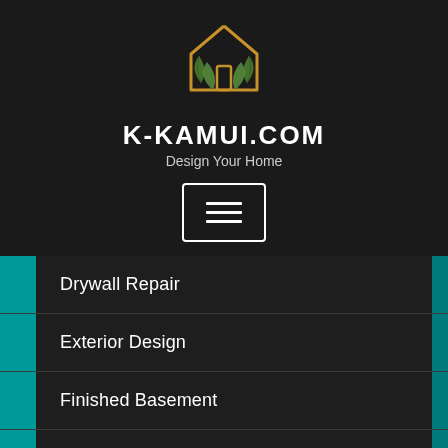[Figure (logo): K-Kamui.com logo: house outline with green leaves and an orange door]
K-KAMUI.COM
Design Your Home
[Figure (other): Hamburger menu button (three horizontal lines) inside a white-bordered rectangle]
Drywall Repair
Exterior Design
Finished Basement
Garage Design
General Article